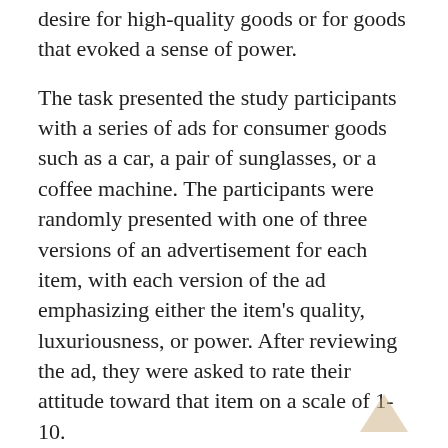desire for high-quality goods or for goods that evoked a sense of power.
The task presented the study participants with a series of ads for consumer goods such as a car, a pair of sunglasses, or a coffee machine. The participants were randomly presented with one of three versions of an advertisement for each item, with each version of the ad emphasizing either the item's quality, luxuriousness, or power. After reviewing the ad, they were asked to rate their attitude toward that item on a scale of 1-10.
The data from this task–as with the first task–showed that men who received a dose of testosterone had a stronger preference for luxury goods than men who received the placebo. There was no corresponding increase in preference for goods that were advertised as powerful or higher in